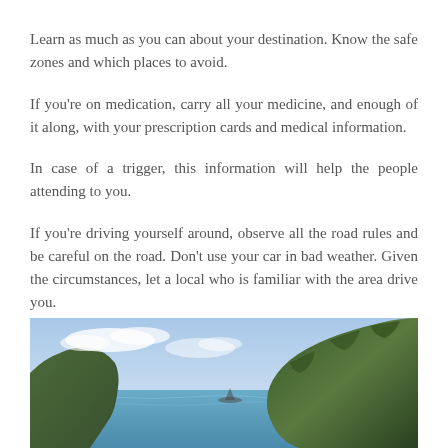Learn as much as you can about your destination. Know the safe zones and which places to avoid.
If you're on medication, carry all your medicine, and enough of it along, with your prescription cards and medical information.
In case of a trigger, this information will help the people attending to you.
If you're driving yourself around, observe all the road rules and be careful on the road. Don't use your car in bad weather. Given the circumstances, let a local who is familiar with the area drive you.
[Figure (photo): Coastal landscape with steep green cliff faces and mountains meeting the sea under a partly cloudy blue sky, with a small boat visible in the water.]